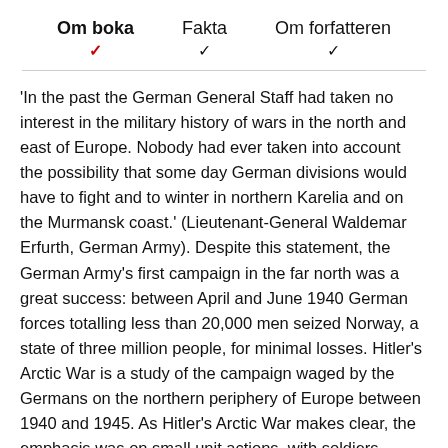Om boka | Fakta | Om forfatteren
'In the past the German General Staff had taken no interest in the military history of wars in the north and east of Europe. Nobody had ever taken into account the possibility that some day German divisions would have to fight and to winter in northern Karelia and on the Murmansk coast.' (Lieutenant-General Waldemar Erfurth, German Army). Despite this statement, the German Army's first campaign in the far north was a great success: between April and June 1940 German forces totalling less than 20,000 men seized Norway, a state of three million people, for minimal losses. Hitler's Arctic War is a study of the campaign waged by the Germans on the northern periphery of Europe between 1940 and 1945. As Hitler's Arctic War makes clear, the emphasis was on small unit actions, with soldiers